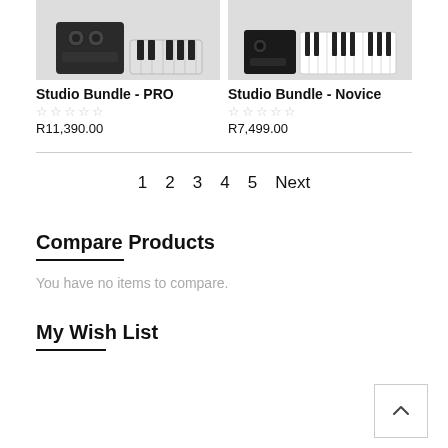[Figure (photo): Product image of Studio Bundle - PRO (audio interface and MIDI keyboard)]
Studio Bundle - PRO
☆☆☆☆☆
R11,390.00
[Figure (photo): Product image of Studio Bundle - Novice (audio interface and keyboard)]
Studio Bundle - Novice
☆☆☆☆☆
R7,499.00
1  2  3  4  5  Next
Compare Products
You have no items to compare.
My Wish List